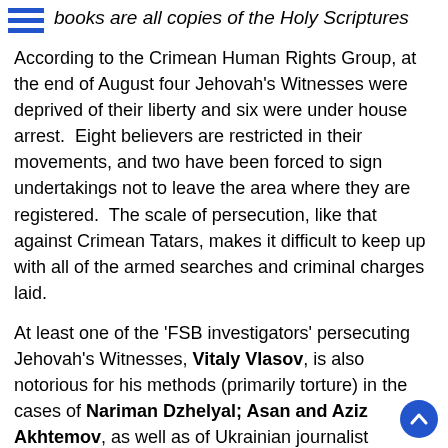books are all copies of the Holy Scriptures
According to the Crimean Human Rights Group, at the end of August four Jehovah's Witnesses were deprived of their liberty and six were under house arrest.  Eight believers are restricted in their movements, and two have been forced to sign undertakings not to leave the area where they are registered.  The scale of persecution, like that against Crimean Tatars, makes it difficult to keep up with all of the armed searches and criminal charges laid.
At least one of the 'FSB investigators' persecuting Jehovah's Witnesses, Vitaly Vlasov, is also notorious for his methods (primarily torture) in the cases of Nariman Dzhelyal; Asan and Aziz Akhtemov, as well as of Ukrainian journalist Vladislav Yesypenko.
Oleksandr Lytvyniuk and Oleksandr Dubovenko
On 2 August, Vlasov initiated charges of 'organizing the activities of an extremist organization' (under Article 282 2.5 1 of Russia's criminal code) against two men: 60-year-old Oleksandr Lytvyniuk and Oleksandr Dubovenko (48